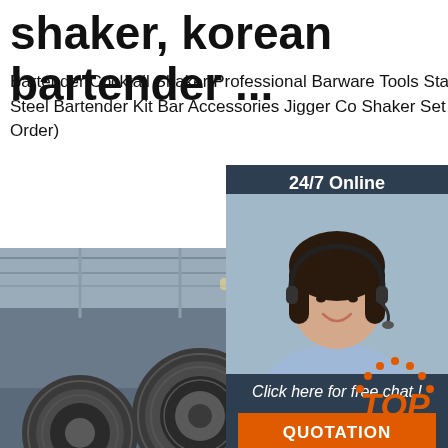shaker, korean bartender ...
Bartender Cocktail Shaker Professional Barware Tools Stand Bag Travel Gift Stainless Steel Bartender Kit Bar Accessories Jigger Co Shaker Set US $11.41-$15.86 Set 10 Se Order)
Get Price
[Figure (infographic): 24/7 Online chat widget with a female customer service agent photo, 'Click here for free chat!' text, and orange QUOTATION button on a dark navy background]
[Figure (photo): Industrial steel coils in a factory warehouse setting. Large rolls of steel sheet on the factory floor.]
[Figure (logo): Orange TOP badge with dotted arc above and italic orange text reading TOP]